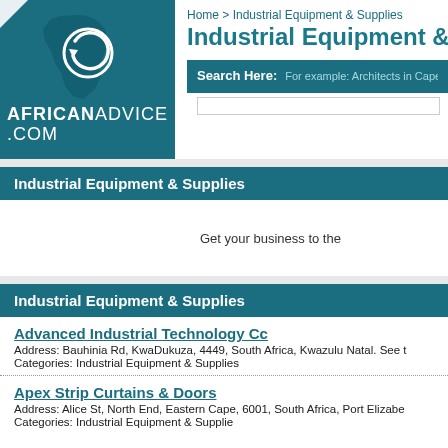[Figure (logo): AfricanAdvice.com logo with Africa map silhouette and circular arrow icon on teal background]
Home > Industrial Equipment & Supplies
Industrial Equipment &
Search Here:  For example: Architects in Cape
Industrial Equipment & Supplies
Get your business to the
Industrial Equipment & Supplies
Advanced Industrial Technology Cc
Address: Bauhinia Rd, KwaDukuza, 4449, South Africa, Kwazulu Natal. See t
Categories: Industrial Equipment & Supplies
Apex Strip Curtains & Doors
Address: Alice St, North End, Eastern Cape, 6001, South Africa, Port Elizabe
Categories: Industrial Equipment & Supplies